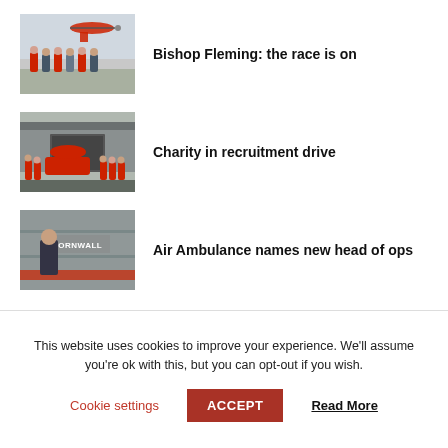[Figure (photo): Group of people in red uniforms and casual clothes standing outside with a helicopter in background]
Bishop Fleming: the race is on
[Figure (photo): Group of children/people in red uniforms standing in front of a building with a red helicopter]
Charity in recruitment drive
[Figure (photo): Man standing in front of a Cornwall Air Ambulance building/hangar]
Air Ambulance names new head of ops
This website uses cookies to improve your experience. We'll assume you're ok with this, but you can opt-out if you wish.
Cookie settings   ACCEPT   Read More